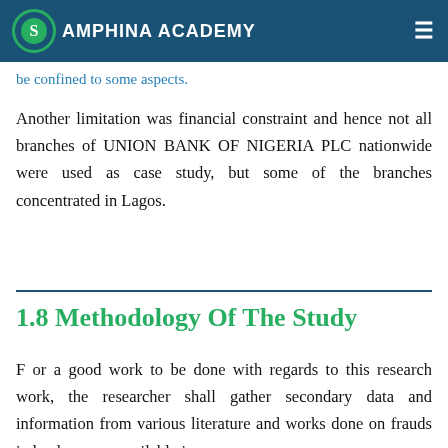AMPHINA ACADEMY
research work, there was need or the researcher to be confined to some aspects.
Another limitation was financial constraint and hence not all branches of UNION BANK OF NIGERIA PLC nationwide were used as case study, but some of the branches concentrated in Lagos.
1.8 Methodology Of The Study
F or a good work to be done with regards to this research work, the researcher shall gather secondary data and information from various literature and works done on frauds in banks as are available in